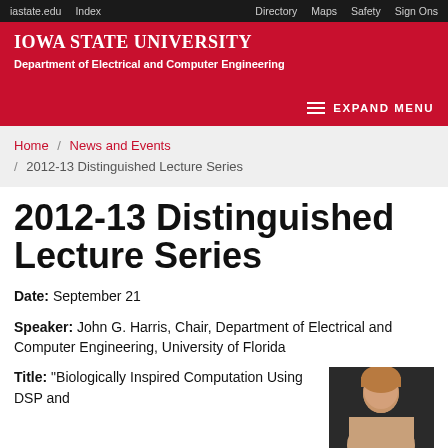iastate.edu  Index  Directory  Maps  Safety  Sign Ons
Iowa State University Department of Electrical and Computer Engineering
EXPAND MENU
Home / News and Events / 2012-13 Distinguished Lecture Series
2012-13 Distinguished Lecture Series
Date: September 21
Speaker: John G. Harris, Chair, Department of Electrical and Computer Engineering, University of Florida
Title: “Biologically Inspired Computation Using DSP and
[Figure (photo): Headshot photo of a person against a dark background]